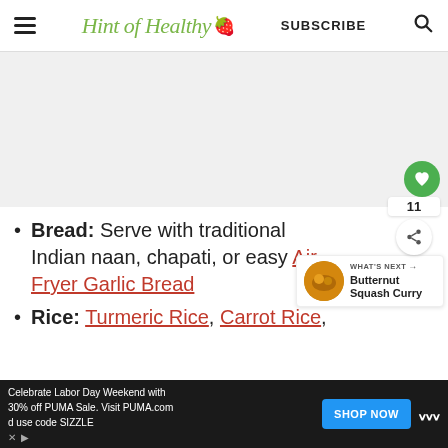Hint of Healthy | SUBSCRIBE
[Figure (other): Gray advertisement placeholder area]
Bread: Serve with traditional Indian naan, chapati, or easy Air Fryer Garlic Bread
Rice: Turmeric Rice, Carrot Rice,
[Figure (other): What's Next promo panel with Butternut Squash Curry thumbnail]
Celebrate Labor Day Weekend with 30% off PUMA Sale. Visit PUMA.com and use code SIZZLE | SHOP NOW